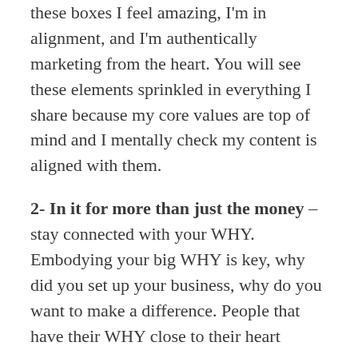these boxes I feel amazing, I'm in alignment, and I'm authentically marketing from the heart. You will see these elements sprinkled in everything I share because my core values are top of mind and I mentally check my content is aligned with them.
2- In it for more than just the money – stay connected with your WHY. Embodying your big WHY is key, why did you set up your business, why do you want to make a difference. People that have their WHY close to their heart